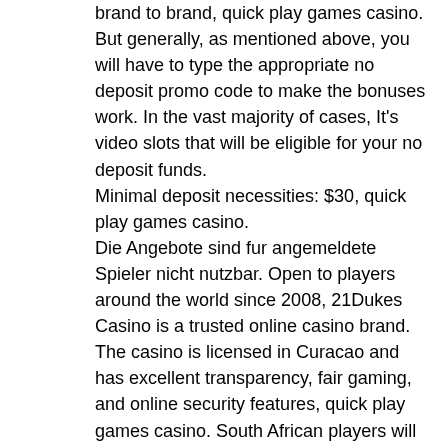brand to brand, quick play games casino. But generally, as mentioned above, you will have to type the appropriate no deposit promo code to make the bonuses work. In the vast majority of cases, It's video slots that will be eligible for your no deposit funds.
Minimal deposit necessities: $30, quick play games casino.
Die Angebote sind fur angemeldete Spieler nicht nutzbar. Open to players around the world since 2008, 21Dukes Casino is a trusted online casino brand. The casino is licensed in Curacao and has excellent transparency, fair gaming, and online security features, quick play games casino. South African players will feel very welcome here, with its accessibility, mobile support, easy payments, and support for Rands (ZAR). The casino offers exciting no deposit bonuses and a rather generous welcome